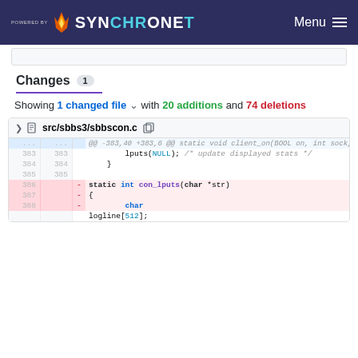POWERED BY SYNCHRONET | Menu
Changes 1
Showing 1 changed file with 20 additions and 74 deletions
| old | new | marker | code |
| --- | --- | --- | --- |
| ... | ... |  | @@ -383,40 +383,6 @@ static void client_on(BOOL on, int sock, client_t* client, BOOL update) |
| 383 | 383 |  |         lputs(NULL); /* update displayed stats */ |
| 384 | 384 |  |     } |
| 385 | 385 |  |  |
| 386 |  | - | static int con_lputs(char *str) |
| 387 |  | - | { |
| 388 |  | - |         char |
|  |  |  | logline[512]; |